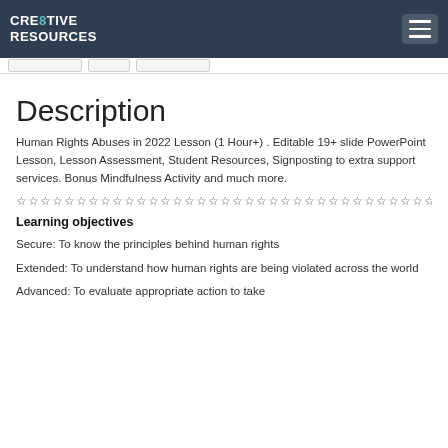CRE8TIVE RESOURCES
Description
Human Rights Abuses in 2022 Lesson (1 Hour+) . Editable 19+ slide PowerPoint Lesson, Lesson Assessment, Student Resources, Signposting to extra support services. Bonus Mindfulness Activity and much more.
☆☆☆☆☆☆☆☆☆☆☆☆☆☆☆☆☆☆☆☆☆☆☆☆☆☆☆☆☆☆☆☆☆☆☆
Learning objectives
Secure: To know the principles behind human rights
Extended: To understand how human rights are being violated across the world
Advanced: To evaluate appropriate action to take